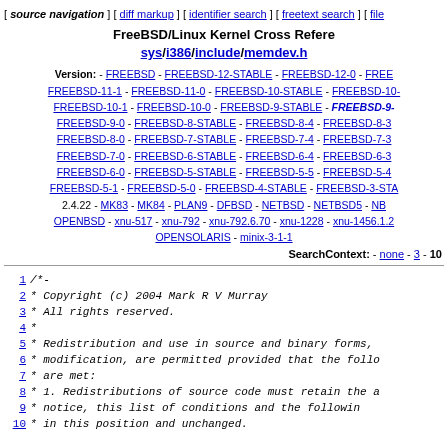[ source navigation ] [ diff markup ] [ identifier search ] [ freetext search ] [ file
FreeBSD/Linux Kernel Cross Reference sys/i386/include/memdev.h
Version: - FREEBSD - FREEBSD-12-STABLE - FREEBSD-12-0 - FREEBSD-11-1 - FREEBSD-11-0 - FREEBSD-10-STABLE - FREEBSD-10-1 - FREEBSD-10-0 - FREEBSD-9-STABLE - FREEBSD-9- FREEBSD-9-0 - FREEBSD-8-STABLE - FREEBSD-8-4 - FREEBSD-8-3 FREEBSD-8-0 - FREEBSD-7-STABLE - FREEBSD-7-4 - FREEBSD-7-3 FREEBSD-7-0 - FREEBSD-6-STABLE - FREEBSD-6-4 - FREEBSD-6-3 FREEBSD-6-0 - FREEBSD-5-STABLE - FREEBSD-5-5 - FREEBSD-5-4 FREEBSD-5-1 - FREEBSD-5-0 - FREEBSD-4-STABLE - FREEBSD-3-STABLE 2.4.22 - MK83 - MK84 - PLAN9 - DFBSD - NETBSD - NETBSD5 - NB OPENBSD - xnu-517 - xnu-792 - xnu-792.6.70 - xnu-1228 - xnu-1456.1.2 OPENSOLARIS - minix-3-1-1
SearchContext: - none - 3 - 10
1 /*-
2  * Copyright (c) 2004 Mark R V Murray
3  * All rights reserved.
4  *
5  * Redistribution and use in source and binary forms,
6  * modification, are permitted provided that the follo
7  * are met:
8  * 1. Redistributions of source code must retain the a
9  *    notice, this list of conditions and the followin
10 *    in this position and unchanged.